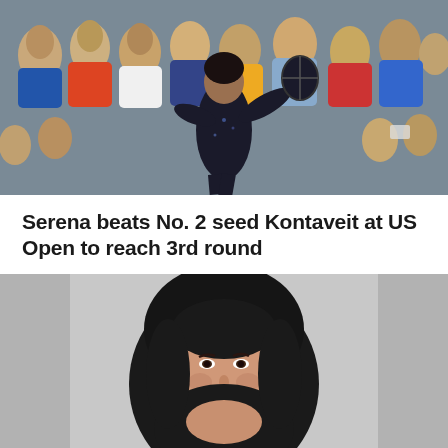[Figure (photo): Sports photo of a tennis player (Serena Williams) in a black outfit mid-swing, with a crowd in the background]
Serena beats No. 2 seed Kontaveit at US Open to reach 3rd round
[Figure (photo): Portrait photo of a young woman wearing a black hijab, shown from shoulders up against a gray background]
Teen who fled U.K., joined ISIS was smuggled into